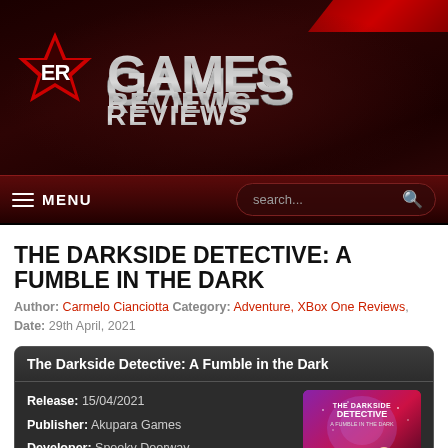[Figure (logo): GamesReviews website header with red star/ER logo and metallic GAMESREVIEWS text on dark red background]
MENU   search...
THE DARKSIDE DETECTIVE: A FUMBLE IN THE DARK
Author: Carmelo Cianciotta Category: Adventure, XBox One Reviews, Date: 29th April, 2021
| Release: | 15/04/2021 |
| Publisher: | Akupara Games |
| Developer: | Spooky Doorway |
| Genre: | Adventure, XBox One Reviews |
| PEGI: | T |
| Comments: |  |